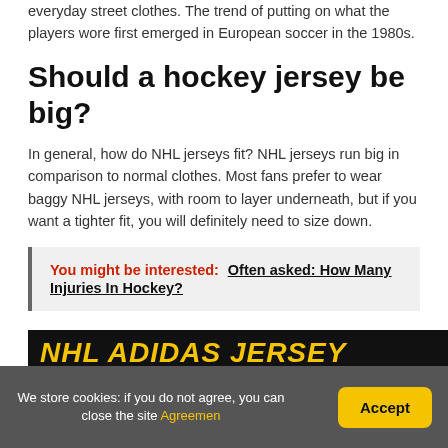everyday street clothes. The trend of putting on what the players wore first emerged in European soccer in the 1980s.
Should a hockey jersey be big?
In general, how do NHL jerseys fit? NHL jerseys run big in comparison to normal clothes. Most fans prefer to wear baggy NHL jerseys, with room to layer underneath, but if you want a tighter fit, you will definitely need to size down.
You might be interested: Often asked: How Many Injuries In Hockey?
[Figure (photo): NHL Adidas Jersey Size Comparison banner image with yellow and white text on dark background]
We store cookies: if you do not agree, you can close the site Agreemen